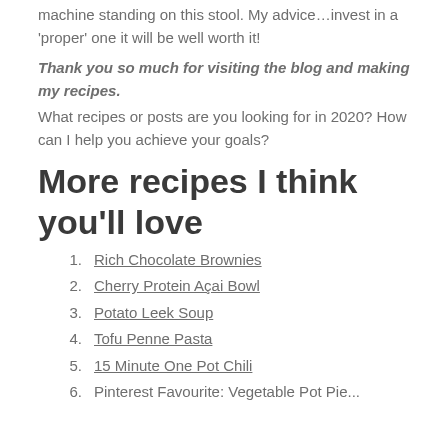machine standing on this stool. My advice…invest in a 'proper' one it will be well worth it!
Thank you so much for visiting the blog and making my recipes.
What recipes or posts are you looking for in 2020? How can I help you achieve your goals?
More recipes I think you'll love
Rich Chocolate Brownies
Cherry Protein Açai Bowl
Potato Leek Soup
Tofu Penne Pasta
15 Minute One Pot Chili
Pinterest Favourite: Vegetable Pot Pie...